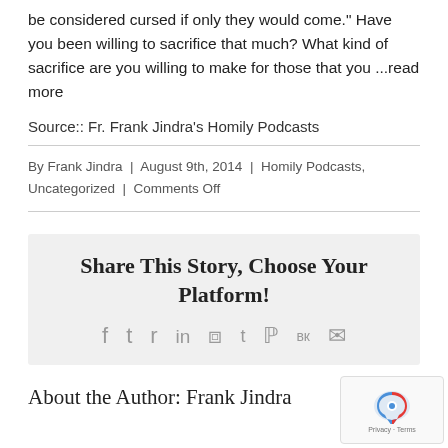be considered cursed if only they would come." Have you been willing to sacrifice that much? What kind of sacrifice are you willing to make for those that you ...read more
Source:: Fr. Frank Jindra's Homily Podcasts
By Frank Jindra | August 9th, 2014 | Homily Podcasts, Uncategorized | Comments Off
Share This Story, Choose Your Platform!
[Figure (infographic): Social sharing icons: Facebook, Twitter, Reddit, LinkedIn, WhatsApp, Tumblr, Pinterest, VK, Email]
About the Author: Frank Jindra